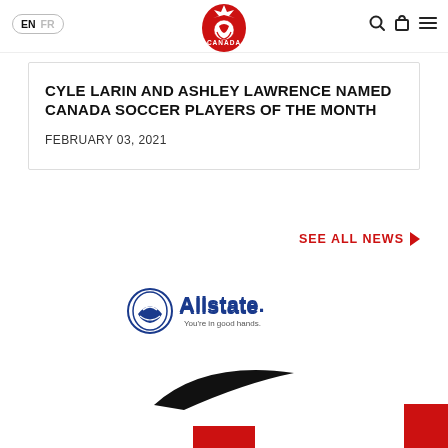EN FR — Canada Soccer navigation bar
CYLE LARIN AND ASHLEY LAWRENCE NAMED CANADA SOCCER PLAYERS OF THE MONTH
FEBRUARY 03, 2021
SEE ALL NEWS
[Figure (logo): Allstate logo — You're in good hands.]
[Figure (logo): Nike swoosh logo]
[Figure (logo): Partial red logo at bottom center]